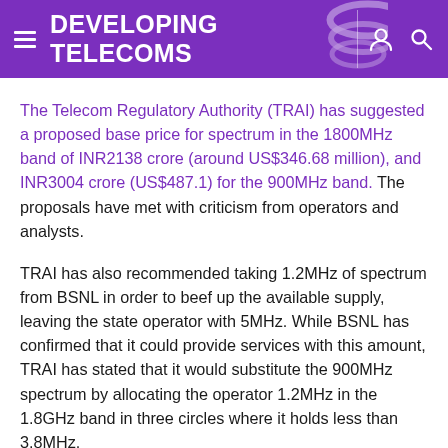DEVELOPING TELECOMS
The Telecom Regulatory Authority (TRAI) has suggested a proposed base price for spectrum in the 1800MHz band of INR2138 crore (around US$346.68 million), and INR3004 crore (US$487.1) for the 900MHz band. The proposals have met with criticism from operators and analysts.
TRAI has also recommended taking 1.2MHz of spectrum from BSNL in order to beef up the available supply, leaving the state operator with 5MHz. While BSNL has confirmed that it could provide services with this amount, TRAI has stated that it would substitute the 900MHz spectrum by allocating the operator 1.2MHz in the 1.8GHz band in three circles where it holds less than 3.8MHz.